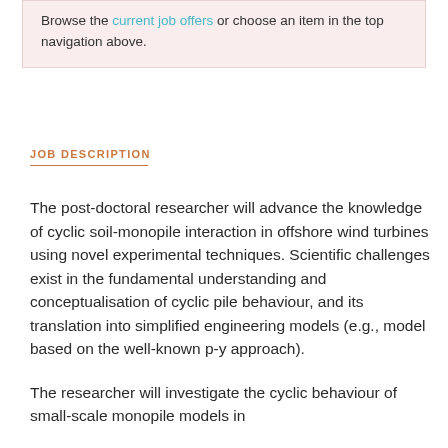Browse the current job offers or choose an item in the top navigation above.
JOB DESCRIPTION
The post-doctoral researcher will advance the knowledge of cyclic soil-monopile interaction in offshore wind turbines using novel experimental techniques. Scientific challenges exist in the fundamental understanding and conceptualisation of cyclic pile behaviour, and its translation into simplified engineering models (e.g., model based on the well-known p-y approach).
The researcher will investigate the cyclic behaviour of small-scale monopile models in